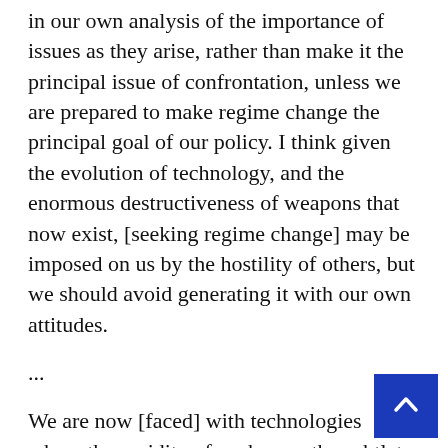in our own analysis of the importance of issues as they arise, rather than make it the principal issue of confrontation, unless we are prepared to make regime change the principal goal of our policy. I think given the evolution of technology, and the enormous destructiveness of weapons that now exist, [seeking regime change] may be imposed on us by the hostility of others, but we should avoid generating it with our own attitudes.
...
We are now [faced] with technologies where the rapidity of exchange, the subtlety of the inventions, can produce levels of catastrophe that were not even imaginable.
But there's almost no discussion internationally about what would happen if the weapons actually